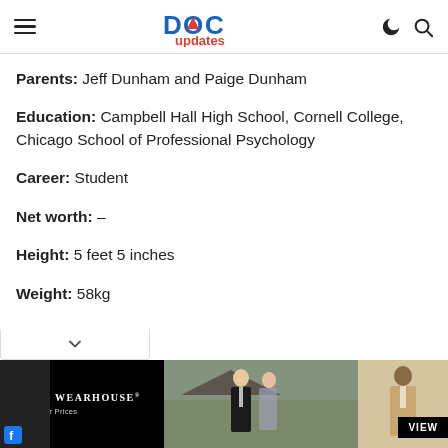DOC updates
Parents: Jeff Dunham and Paige Dunham
Education: Campbell Hall High School, Cornell College, Chicago School of Professional Psychology
Career: Student
Net worth: –
Height: 5 feet 5 inches
Weight: 58kg
[Figure (photo): Advertisement for Men's Wearhouse featuring a couple in formal wear and a man in a suit with a VIEW button]